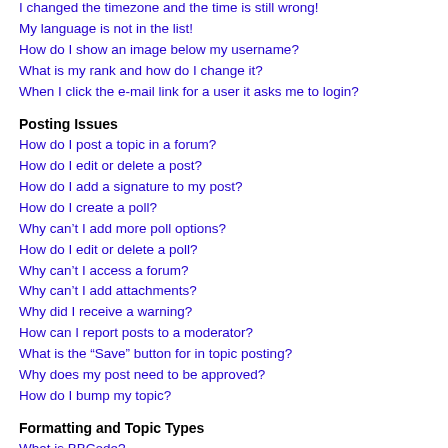I changed the timezone and the time is still wrong!
My language is not in the list!
How do I show an image below my username?
What is my rank and how do I change it?
When I click the e-mail link for a user it asks me to login?
Posting Issues
How do I post a topic in a forum?
How do I edit or delete a post?
How do I add a signature to my post?
How do I create a poll?
Why can't I add more poll options?
How do I edit or delete a poll?
Why can't I access a forum?
Why can't I add attachments?
Why did I receive a warning?
How can I report posts to a moderator?
What is the “Save” button for in topic posting?
Why does my post need to be approved?
How do I bump my topic?
Formatting and Topic Types
What is BBCode?
Can I use HTML?
What are Smilies?
Can I post images?
What are global announcements?
What are announcements?
What are sticky topics?
What are locked topics?
What are topic icons?